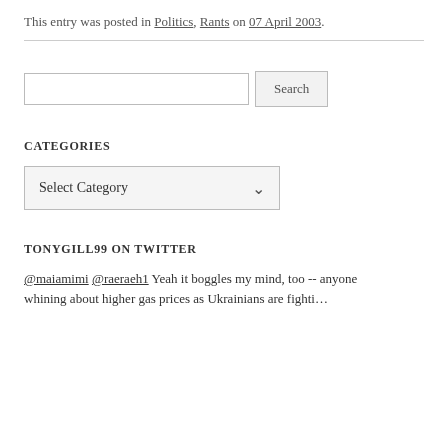This entry was posted in Politics, Rants on 07 April 2003.
CATEGORIES
TONYGILL99 ON TWITTER
@maiamimi @raeraeh1 Yeah it boggles my mind, too -- anyone whining about higher gas prices as Ukrainians are fighti…